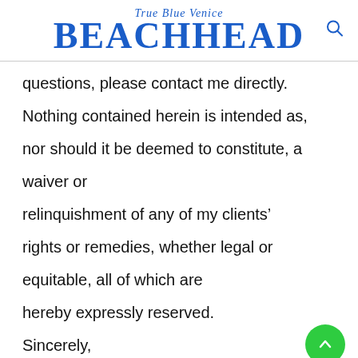True Blue Venice BEACHHEAD
questions, please contact me directly. Nothing contained herein is intended as, nor should it be deemed to constitute, a waiver or relinquishment of any of my clients' rights or remedies, whether legal or equitable, all of which are hereby expressly reserved. Sincerely,